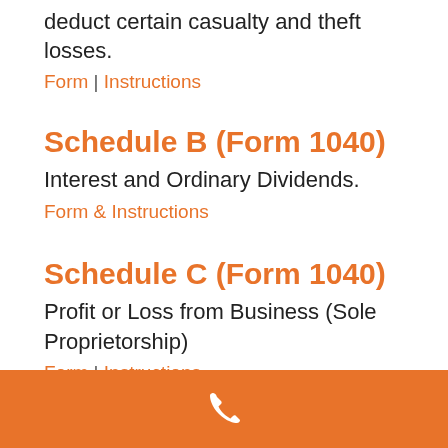deduct certain casualty and theft losses.
Form | Instructions
Schedule B (Form 1040)
Interest and Ordinary Dividends.
Form & Instructions
Schedule C (Form 1040)
Profit or Loss from Business (Sole Proprietorship)
Form | Instructions
[Figure (illustration): Orange footer bar with white phone/telephone icon]